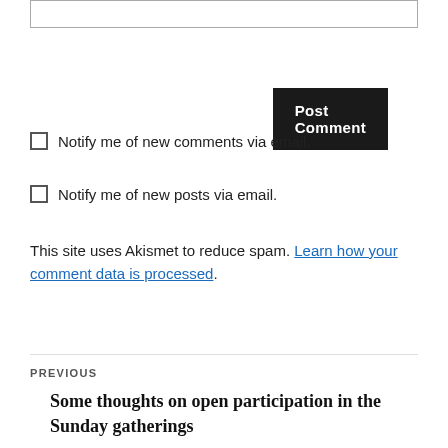[input box]
Post Comment
Notify me of new comments via email.
Notify me of new posts via email.
This site uses Akismet to reduce spam. Learn how your comment data is processed.
PREVIOUS
Some thoughts on open participation in the Sunday gatherings